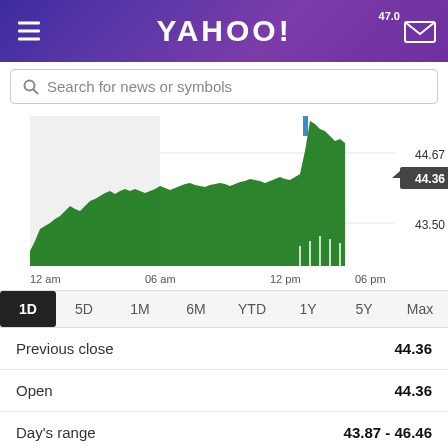YAHOO!
Search for news or symbols
[Figure (area-chart): Stock price intraday chart]
1D  5D  1M  6M  YTD  1Y  5Y  Max
|  |  |
| --- | --- |
| Previous close | 44.36 |
| Open | 44.36 |
| Day's range | 43.87 - 46.46 |
| 52-week range | 37.41 - 351.67 |
| Start date | 2021-12-16 |